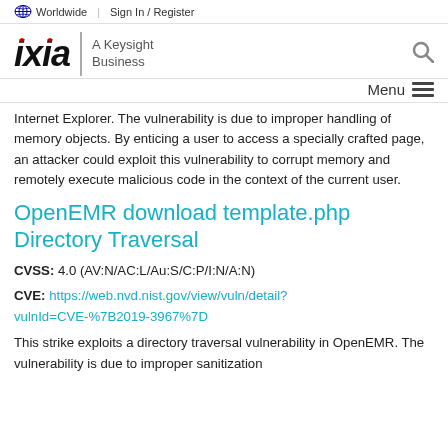Worldwide  Sign In / Register
[Figure (logo): Ixia | A Keysight Business logo with search icon]
Internet Explorer. The vulnerability is due to improper handling of memory objects. By enticing a user to access a specially crafted page, an attacker could exploit this vulnerability to corrupt memory and remotely execute malicious code in the context of the current user.
OpenEMR download template.php Directory Traversal
CVSS: 4.0 (AV:N/AC:L/Au:S/C:P/I:N/A:N)
CVE: https://web.nvd.nist.gov/view/vuln/detail?vulnId=CVE-%7B2019-3967%7D
This strike exploits a directory traversal vulnerability in OpenEMR. The vulnerability is due to improper sanitization